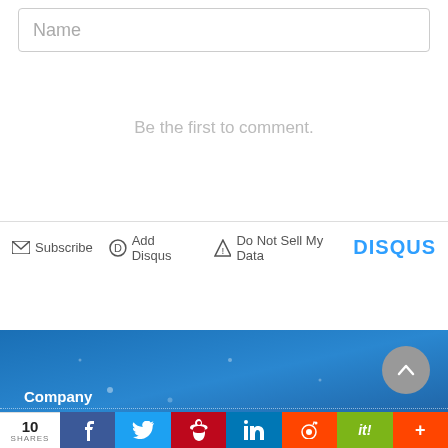Name
Be the first to comment.
Subscribe   Add Disqus   Do Not Sell My Data   DISQUS
Company
We use cookies to ensure that you get the best experience on
10 SHARES  f  t  p  in  reddit  it!  +